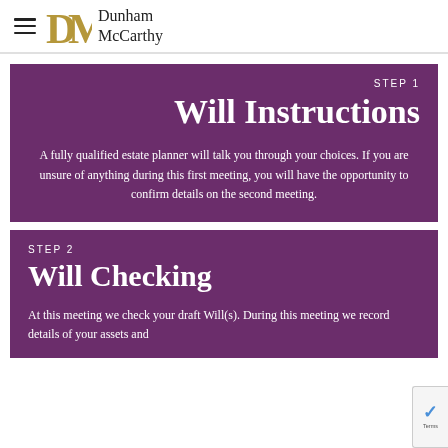Dunham McCarthy
STEP 1
Will Instructions
A fully qualified estate planner will talk you through your choices. If you are unsure of anything during this first meeting, you will have the opportunity to confirm details on the second meeting.
STEP 2
Will Checking
At this meeting we check your draft Will(s). During this meeting we record details of your assets and